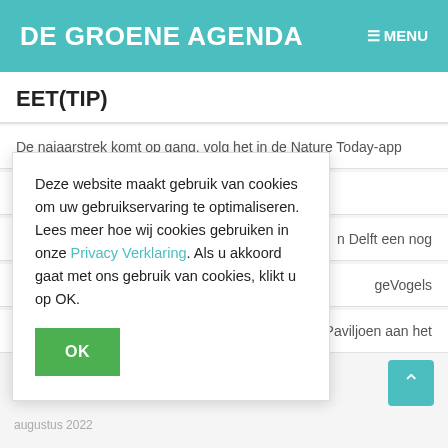DE GROENE AGENDA  ≡ MENU
EET(TIP)
De najaarstrek komt op gang, volg het in de Nature Today-app
Speeltips van OERRR Natuurmonumenten
n Delft een nog
geVogels
t Paviljoen aan het
Deze website maakt gebruik van cookies om uw gebruikservaring te optimaliseren. Lees meer hoe wij cookies gebruiken in onze Privacy Verklaring. Als u akkoord gaat met ons gebruik van cookies, klikt u op OK.
OK